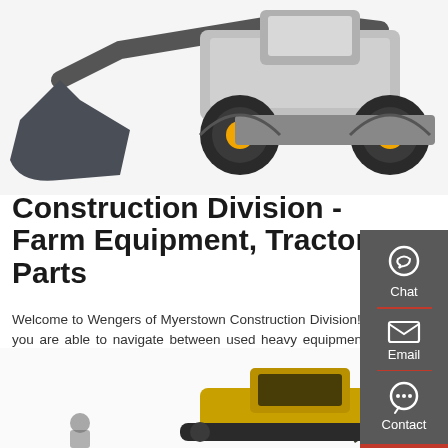[Figure (photo): Front loader tractor with black bucket, yellow wheels, partially cropped at top of page]
Construction Division - Farm Equipment, Tractor Parts
Welcome to Wengers of Myerstown Construction Division! Here you are able to navigate between used heavy equipment and used construction parts.
[Figure (other): Dark rounded rectangle button labeled 'Get a Quote']
[Figure (infographic): Right sidebar with dark gray background showing Chat (headset icon), Email (envelope icon), and Contact (speech bubble icon) with red dividers]
[Figure (photo): Yellow excavator construction equipment, partially visible at bottom of page]